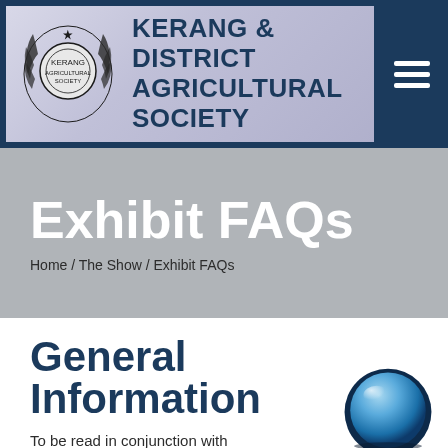[Figure (logo): Kerang & District Agricultural Society logo with emblem/seal on left and organization name in bold dark blue text on light purple/grey background, with hamburger menu icon on right in dark blue bar]
Exhibit FAQs
Home / The Show / Exhibit FAQs
General Information
To be read in conjunction with relevant Rules and Regulations as